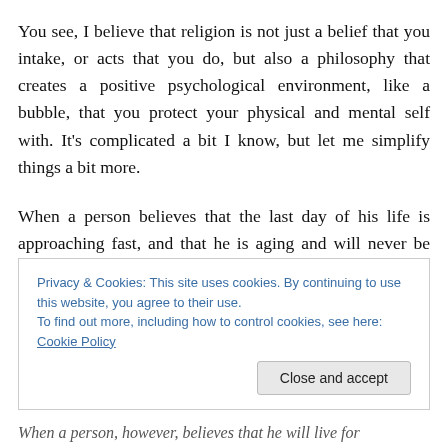You see, I believe that religion is not just a belief that you intake, or acts that you do, but also a philosophy that creates a positive psychological environment, like a bubble, that you protect your physical and mental self with. It's complicated a bit I know, but let me simplify things a bit more.
When a person believes that the last day of his life is approaching fast, and that he is aging and will never be young again, he would tend to do the following. One, hate
Privacy & Cookies: This site uses cookies. By continuing to use this website, you agree to their use.
To find out more, including how to control cookies, see here: Cookie Policy
When a person, however, believes that he will live for